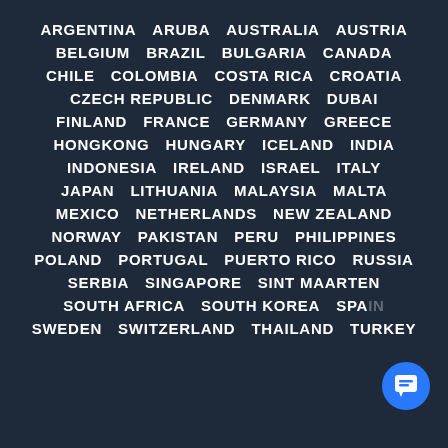ARGENTINA  ARUBA  AUSTRALIA  AUSTRIA
BELGIUM  BRAZIL  BULGARIA  CANADA
CHILE  COLOMBIA  COSTA RICA  CROATIA
CZECH REPUBLIC  DENMARK  DUBAI
FINLAND  FRANCE  GERMANY  GREECE
HONGKONG  HUNGARY  ICELAND  INDIA
INDONESIA  IRELAND  ISRAEL  ITALY
JAPAN  LITHUANIA  MALAYSIA  MALTA
MEXICO  NETHERLANDS  NEW ZEALAND
NORWAY  PAKISTAN  PERU  PHILIPPINES
POLAND  PORTUGAL  PUERTO RICO  RUSSIA
SERBIA  SINGAPORE  SINT MAARTEN
SOUTH AFRICA  SOUTH KOREA  SPAIN
SWEDEN  SWITZERLAND  THAILAND  TURKEY